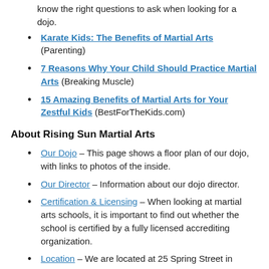know the right questions to ask when looking for a dojo.
Karate Kids: The Benefits of Martial Arts (Parenting)
7 Reasons Why Your Child Should Practice Martial Arts (Breaking Muscle)
15 Amazing Benefits of Martial Arts for Your Zestful Kids (BestForTheKids.com)
About Rising Sun Martial Arts
Our Dojo – This page shows a floor plan of our dojo, with links to photos of the inside.
Our Director – Information about our dojo director.
Certification & Licensing – When looking at martial arts schools, it is important to find out whether the school is certified by a fully licensed accrediting organization.
Location – We are located at 25 Spring Street in